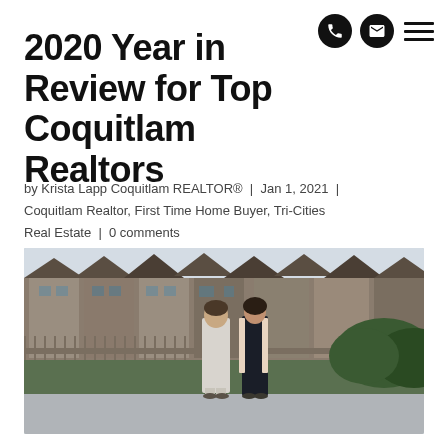nav icons: phone, email, menu
2020 Year in Review for Top Coquitlam Realtors
by Krista Lapp Coquitlam REALTOR® | Jan 1, 2021 | Coquitlam Realtor, First Time Home Buyer, Tri-Cities Real Estate | 0 comments
[Figure (photo): Two women standing on a sidewalk in front of a row of townhouses with fences and hedges. One woman wears a light grey coat and trousers, the other wears a dark jumpsuit with a blush cardigan.]